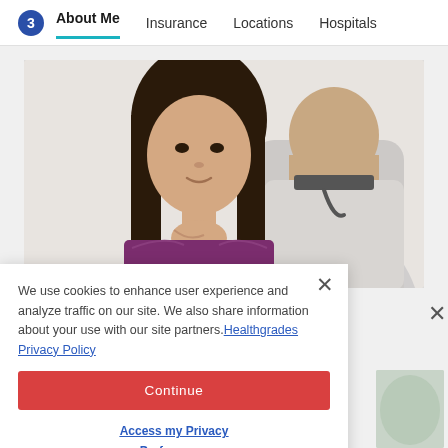About Me | Insurance | Locations | Hospitals
[Figure (photo): A woman in a purple top touching her neck/throat, with a doctor in a white coat visible from behind in the foreground, in a medical consultation setting.]
We use cookies to enhance user experience and analyze traffic on our site. We also share information about your use with our site partners. Healthgrades Privacy Policy
Continue
Access my Privacy Preferences